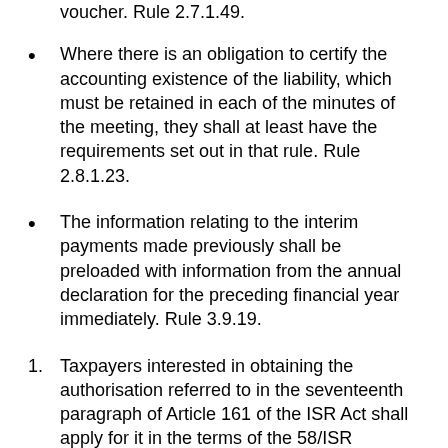voucher. Rule 2.7.1.49.
Where there is an obligation to certify the accounting existence of the liability, which must be retained in each of the minutes of the meeting, they shall at least have the requirements set out in that rule. Rule 2.8.1.23.
The information relating to the interim payments made previously shall be preloaded with information from the annual declaration for the preceding financial year immediately. Rule 3.9.19.
Taxpayers interested in obtaining the authorisation referred to in the seventeenth paragraph of Article 161 of the ISR Act shall apply for it in the terms of the 58/ISR “Application for authorisation to defer the payment of ISR resulting from the restructuring referred to in